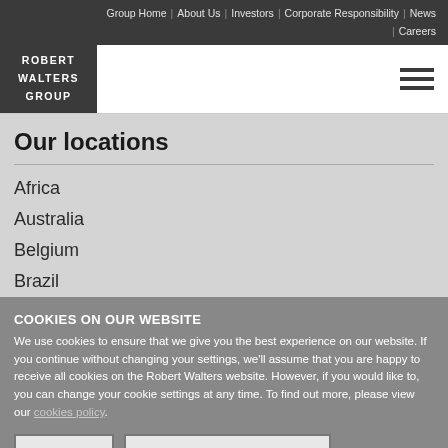Group Home | About Us | Investors | Corporate Responsibility | News | Careers
[Figure (logo): Robert Walters Group logo — white text on dark grey background]
Our locations
Africa
Australia
Belgium
Brazil
COOKIES ON OUR WEBSITE
We use cookies to ensure that we give you the best experience on our website. If you continue without changing your settings, we'll assume that you are happy to receive all cookies on the Robert Walters website. However, if you would like to, you can change your cookie settings at any time. To find out more, please view our cookies policy.
Ok, I agree   No, give me more information